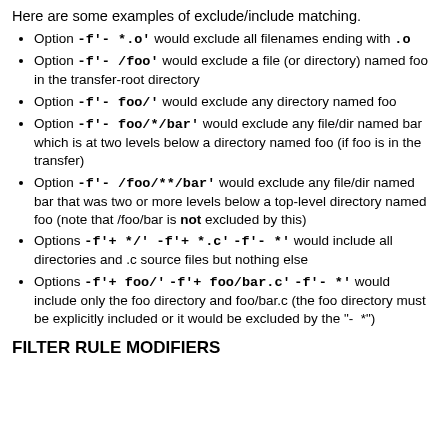Here are some examples of exclude/include matching.
Option -f'- *.o' would exclude all filenames ending with .o
Option -f'- /foo' would exclude a file (or directory) named foo in the transfer-root directory
Option -f'- foo/' would exclude any directory named foo
Option -f'- foo/*/bar' would exclude any file/dir named bar which is at two levels below a directory named foo (if foo is in the transfer)
Option -f'- /foo/**/bar' would exclude any file/dir named bar that was two or more levels below a top-level directory named foo (note that /foo/bar is not excluded by this)
Options -f'+ */' -f'+ *.c' -f'- *' would include all directories and .c source files but nothing else
Options -f'+ foo/' -f'+ foo/bar.c' -f'- *' would include only the foo directory and foo/bar.c (the foo directory must be explicitly included or it would be excluded by the "- *")
FILTER RULE MODIFIERS